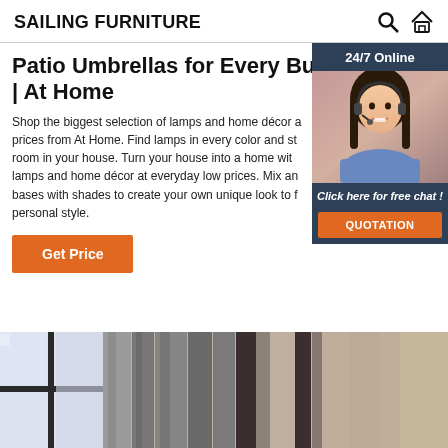SAILING FURNITURE
Patio Umbrellas for Every Budget | At Home
Shop the biggest selection of lamps and home décor at everyday low prices from At Home. Find lamps in every color and style for every room in your house. Turn your house into a home with our selection of lamps and home décor at everyday low prices. Mix and match lamp bases with shades to create your own unique look to fit your personal style.
[Figure (photo): Customer service representative with headset, 24/7 Online widget with click here for free chat and QUOTATION button]
[Figure (photo): Interior room photo showing window with curtains and furniture panels]